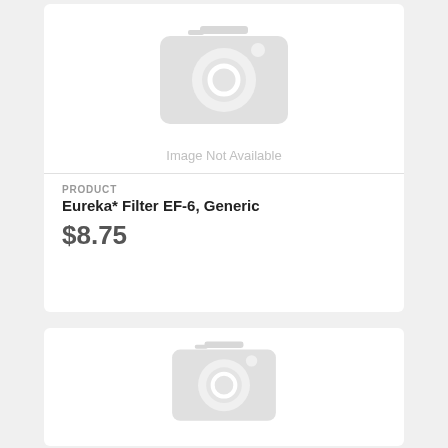[Figure (photo): Image Not Available placeholder with camera icon]
PRODUCT
Eureka* Filter EF-6, Generic
$8.75
[Figure (photo): Second Image Not Available placeholder with camera icon (partially visible)]